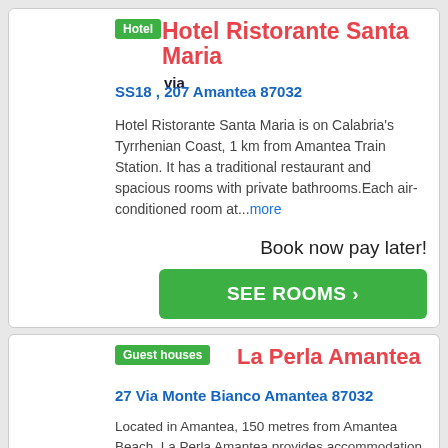Hotel
Hotel Ristorante Santa Maria via
SS18 , 207 Amantea 87032
Hotel Ristorante Santa Maria is on Calabria's Tyrrhenian Coast, 1 km from Amantea Train Station. It has a traditional restaurant and spacious rooms with private bathrooms.Each air-conditioned room at...more
Book now pay later!
SEE ROOMS ›
Guest houses
La Perla Amantea
27 Via Monte Bianco Amantea 87032
Located in Amantea, 150 metres from Amantea Beach, La Perla Amantea provides accommodation with free WiFi and free private parking. Featuring family rooms, this property also provides guests with a te...more
Book now pay later!